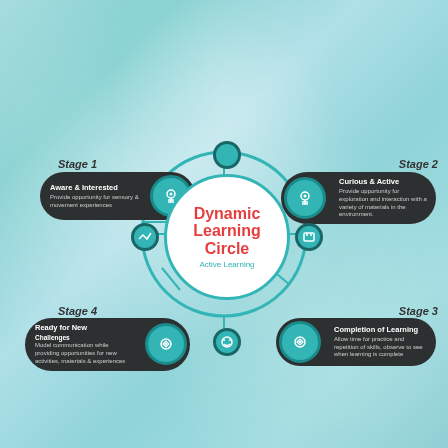[Figure (infographic): Dynamic Learning Circle infographic showing a circular diagram with a center white circle labeled 'Dynamic Learning Circle / Active Learning' and four dark pill-shaped nodes connected by lines representing Stage 1 (Aware & Interested), Stage 2 (Curious & Active), Stage 3 (Completion of Learning), and Stage 4 (Ready for New Challenges), each with a teal icon circle and descriptive text, on a teal textured background.]